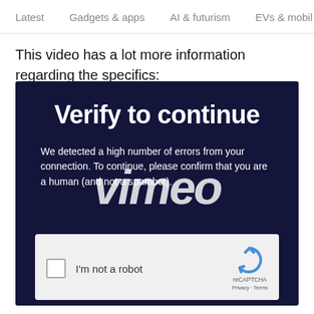Latest   Gadgets & apps   AI & futurism   EVs & mobil  >
This video has a lot more information regarding the specifics:
[Figure (screenshot): Vimeo video embed showing a 'Verify to continue' reCAPTCHA challenge page on a dark navy background. The title reads 'Verify to continue'. Body text states 'We detected a high number of errors from your connection. To continue, please confirm that you are a human (and not a spambot).' A Vimeo watermark logo is overlaid. A reCAPTCHA 'I'm not a robot' checkbox widget is shown at the bottom.]